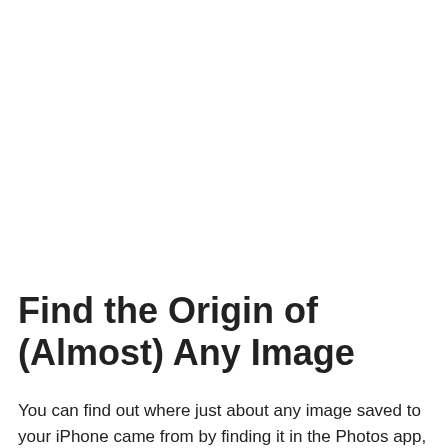Find the Origin of (Almost) Any Image
You can find out where just about any image saved to your iPhone came from by finding it in the Photos app, tapping on it to display it, then wiping up on the image. A panel will appear